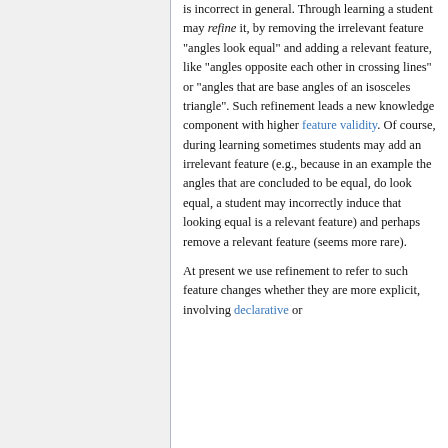is incorrect in general. Through learning a student may refine it, by removing the irrelevant feature "angles look equal" and adding a relevant feature, like "angles opposite each other in crossing lines" or "angles that are base angles of an isosceles triangle". Such refinement leads a new knowledge component with higher feature validity. Of course, during learning sometimes students may add an irrelevant feature (e.g., because in an example the angles that are concluded to be equal, do look equal, a student may incorrectly induce that looking equal is a relevant feature) and perhaps remove a relevant feature (seems more rare).
At present we use refinement to refer to such feature changes whether they are more explicit, involving declarative or